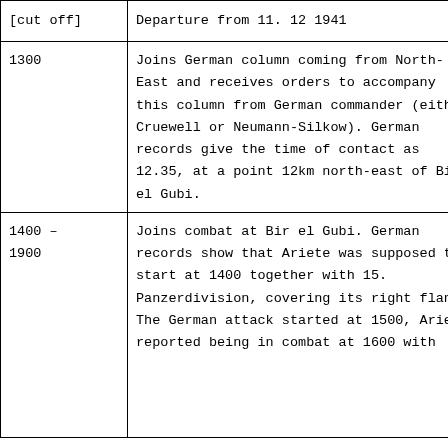| Time | Event |
| --- | --- |
| [cut off] | Departure from 11. 12 1941 |
| 1300 | Joins German column coming from North-East and receives orders to accompany this column from German commander (either Cruewell or Neumann-Silkow). German records give the time of contact as 12.35, at a point 12km north-east of Bir el Gubi. |
| 1400 – 1900 | Joins combat at Bir el Gubi. German records show that Ariete was supposed to start at 1400 together with 15. Panzerdivision, covering its right flank. The German attack started at 1500, Ariete reported being in combat at 1600 with |